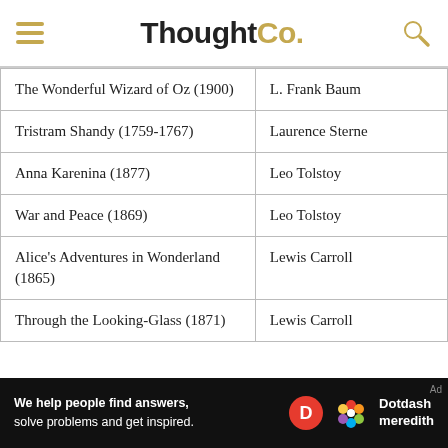ThoughtCo.
| Book | Author |
| --- | --- |
| The Wonderful Wizard of Oz (1900) | L. Frank Baum |
| Tristram Shandy (1759-1767) | Laurence Sterne |
| Anna Karenina (1877) | Leo Tolstoy |
| War and Peace (1869) | Leo Tolstoy |
| Alice's Adventures in Wonderland (1865) | Lewis Carroll |
| Through the Looking-Glass (1871) | Lewis Carroll |
[Figure (infographic): Dotdash Meredith advertisement banner: 'We help people find answers, solve problems and get inspired.']